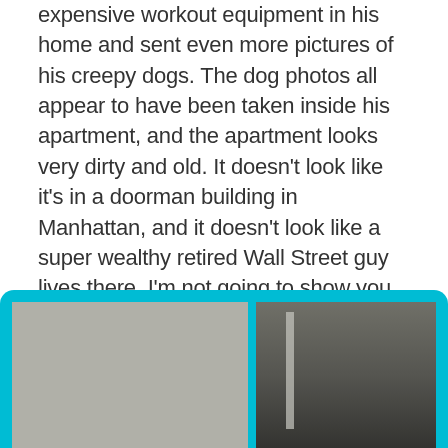expensive workout equipment in his home and sent even more pictures of his creepy dogs. The dog photos all appear to have been taken inside his apartment, and the apartment looks very dirty and old. It doesn't look like it's in a doorman building in Manhattan, and it doesn't look like a super wealthy retired Wall Street guy lives there. I'm not going to show you the dogs because you may become possessed by some demon upon gazing into their glowing eyes, but I will show you the apartment so you can see where I'm coming from.
[Figure (photo): Two side-by-side photos of a dirty, dark apartment interior. Left photo shows a blurry greyish room. Right photo shows a dark hallway or doorframe area.]